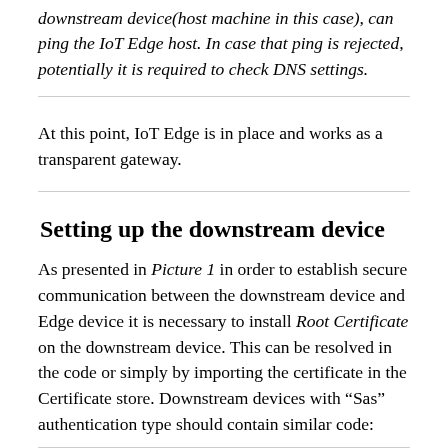downstream device(host machine in this case), can ping the IoT Edge host. In case that ping is rejected, potentially it is required to check DNS settings.
At this point, IoT Edge is in place and works as a transparent gateway.
Setting up the downstream device
As presented in Picture 1 in order to establish secure communication between the downstream device and Edge device it is necessary to install Root Certificate on the downstream device. This can be resolved in the code or simply by importing the certificate in the Certificate store. Downstream devices with “Sas” authentication type should contain similar code: